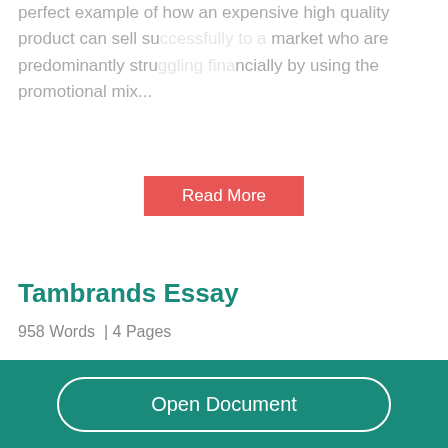perfect example of how an expensive high quality product can sell successfully to a market who are predominantly struggling financially by using the promotional mix...
[Figure (other): Red 'Read More' button overlay on top of the faded text]
Tambrands Essay
958 Words  | 4 Pages
Tambrands desire to expand globally was essential
[Figure (other): Teal footer bar with 'Open Document' button in rounded outline style]